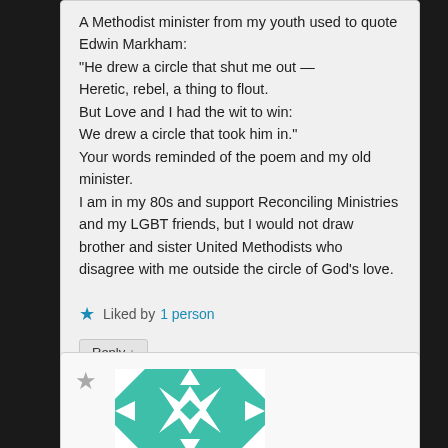A Methodist minister from my youth used to quote Edwin Markham:
"He drew a circle that shut me out —
Heretic, rebel, a thing to flout.
But Love and I had the wit to win:
We drew a circle that took him in."
Your words reminded of the poem and my old minister.
I am in my 80s and support Reconciling Ministries and my LGBT friends, but I would not draw brother and sister United Methodists who disagree with me outside the circle of God's love.
★ Liked by 1 person
Reply ↓
[Figure (illustration): Teal/turquoise geometric quilt-pattern avatar icon, square with angular star/diamond patterns]